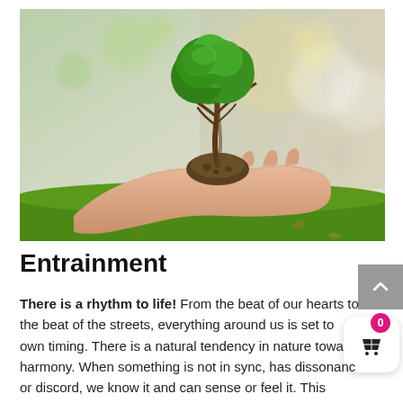[Figure (photo): A pair of outstretched hands holding a small bonsai tree with soil, set against a soft bokeh background with rain and green grass below.]
Entrainment
There is a rhythm to life! From the beat of our hearts to the beat of the streets, everything around us is set to own timing. There is a natural tendency in nature towa harmony. When something is not in sync, has dissonanc or discord, we know it and can sense or feel it. This